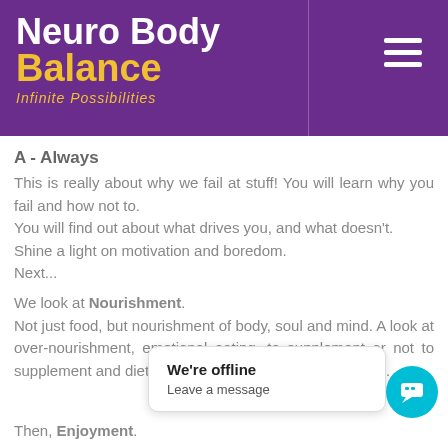[Figure (logo): Neuro Body Balance logo with 'Infinite Possibilities' tagline on purple background with hamburger menu icon]
A - Always
This is really about why we fail at stuff!  You will learn why you fail and how not to.
You will find out about what drives you, and what doesn't.
Shine a light on motivation and boredom.
Next...
We look at Nourishment.
Not just food, but nourishment of body, soul and mind.  A look at over-nourishment, emotional eating, to supplement or not to supplement and diets, the good, the bad and impossible.
Then, Enjoyment.
How to create joy in your life — have the spirit
We're offline
Leave a message